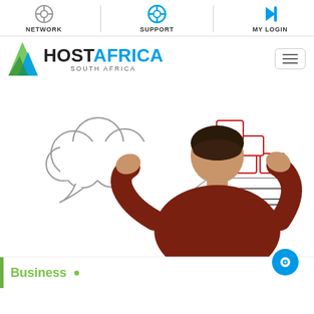NETWORK  SUPPORT  MY LOGIN
[Figure (logo): HostAfrica South Africa logo with green/blue arrow icon and company name]
[Figure (photo): Man in red sweater with hands raised presenting a cloud illustration on the left and a server/hosting illustration on the right]
Business •